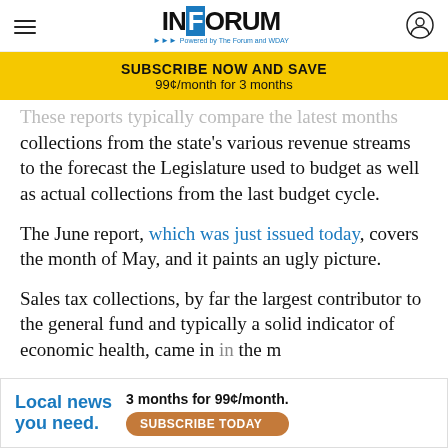INFORUM — Powered by The Forum and WDAY
[Figure (other): Yellow subscription banner: SUBSCRIBE NOW AND SAVE — 99¢/month for 3 months]
These reports typically compare the latest months collections from the state's various revenue streams to the forecast the Legislature used to budget as well as actual collections from the last budget cycle.
The June report, which was just issued today, covers the month of May, and it paints an ugly picture.
Sales tax collections, by far the largest contributor to the general fund and typically a solid indicator of economic health, came in the m...
[Figure (other): Bottom ad banner: Local news you need. 3 months for 99¢/month. SUBSCRIBE TODAY]